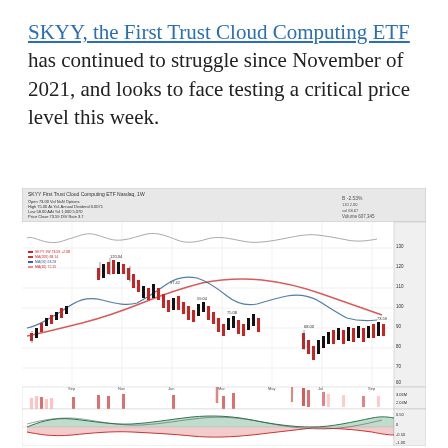SKYY, the First Trust Cloud Computing ETF has continued to struggle since November of 2021, and looks to face testing a critical price level this week.
[Figure (continuous-plot): Stock chart of SKYY (First Trust Cloud Computing ETF) showing price candlestick chart with moving averages (red and blue curves), a volume panel at the bottom, and a momentum oscillator panel. The price shows a peak around late 2021 followed by a significant downtrend, with recent consolidation near lower price levels. Chart includes header data showing Open, High, Low, Close values and date.]